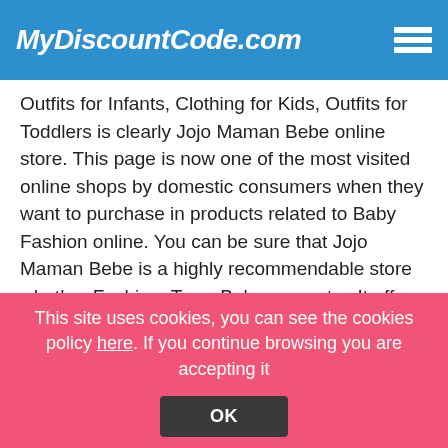MyDiscountCode.com
Outfits for Infants, Clothing for Kids, Outfits for Toddlers is clearly Jojo Maman Bebe online store. This page is now one of the most visited online shops by domestic consumers when they want to purchase in products related to Baby Fashion online. You can be sure that Jojo Maman Bebe is a highly recommendable store whether Fashion, Toys, Baby care, etc...It offers cheap prices and their products have good quality. As we want you to save money when shopping online, we show you the Discounts Codes and Voucher Codes of Jojo Maman Bebe, so that you make good use of them. Offering a wide offer and great discounts, Jojo Maman Bebe has become an specialist in shirts, socks, etc. Discounts and Jojo Maman Bebe Discount Code
This site uses cookies, you can see the cookies policy here. If you continue browsing you are accepting it